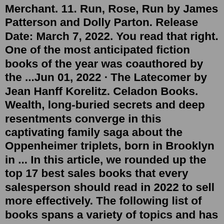Merchant. 11. Run, Rose, Run by James Patterson and Dolly Parton. Release Date: March 7, 2022. You read that right. One of the most anticipated fiction books of the year was coauthored by the ...Jun 01, 2022 · The Latecomer by Jean Hanff Korelitz. Celadon Books. Wealth, long-buried secrets and deep resentments converge in this captivating family saga about the Oppenheimer triplets, born in Brooklyn in ... In this article, we rounded up the top 17 best sales books that every salesperson should read in 2022 to sell more effectively. The following list of books spans a variety of topics and has something of value for everyone from sales leaders to coaches to reps alike. Top 17 Sales Books 1. Jeffrey Gitomer's Sales Manifesto, Jeffry GitomerBest for Women: Clever Girl Finance. Buy on Amazon Buy on Bookshop.org. Women still earn just $0.82 to a man's dollar, while mothers earn just $0.71 for every dollar that fathers earn, according to the U.S. Department of Labor. 1 In short, women still have to work harder when it comes to their money.What would you like to read? Mix and